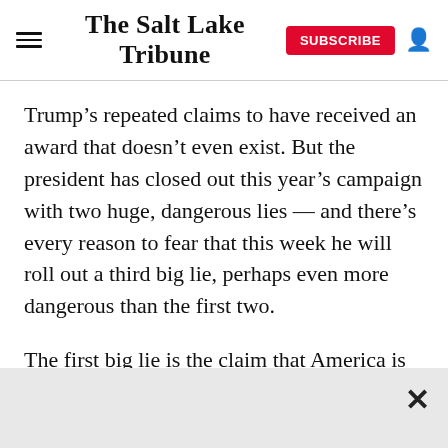The Salt Lake Tribune
Trump’s repeated claims to have received an award that doesn’t even exist. But the president has closed out this year’s campaign with two huge, dangerous lies — and there’s every reason to fear that this week he will roll out a third big lie, perhaps even more dangerous than the first two.
The first big lie is the claim that America is being menaced by hordes of “rioters, looters, arsonists, gun-grabbers, flag-burners, Marxists.”